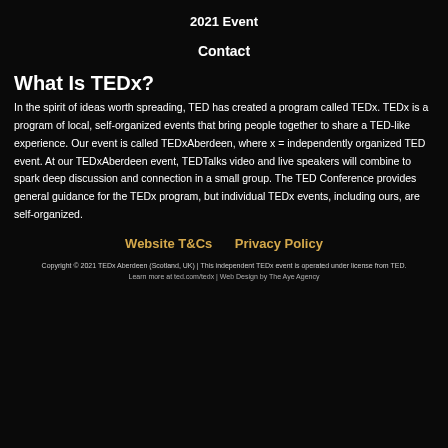2021 Event
Contact
What Is TEDx?
In the spirit of ideas worth spreading, TED has created a program called TEDx. TEDx is a program of local, self-organized events that bring people together to share a TED-like experience. Our event is called TEDxAberdeen, where x = independently organized TED event. At our TEDxAberdeen event, TEDTalks video and live speakers will combine to spark deep discussion and connection in a small group. The TED Conference provides general guidance for the TEDx program, but individual TEDx events, including ours, are self-organized.
Website T&Cs    Privacy Policy
Copyright © 2021 TEDx Aberdeen (Scotland, UK) | This independent TEDx event is operated under license from TED.
Learn more at ted.com/tedx | Web Design by The Aye Agency